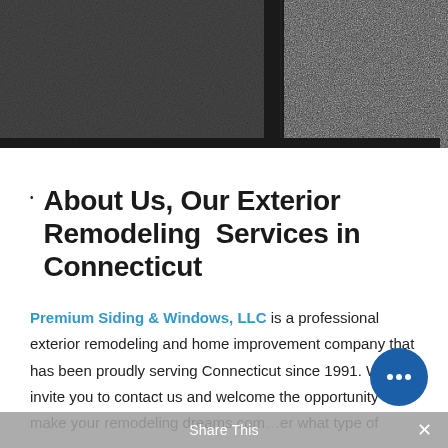[Figure (photo): Two dark textured photos side by side at the top of the page, separated by a dark divider, showing dark granular surfaces (likely exterior siding or roofing material).]
About Us, Our Exterior Remodeling Services in Connecticut
Premium Siding & Windows, LLC is a professional exterior remodeling and home improvement company that has been proudly serving Connecticut since 1991. We invite you to contact us and welcome the opportunity to make your remodeling dreams come true, no matter what type of
Share This